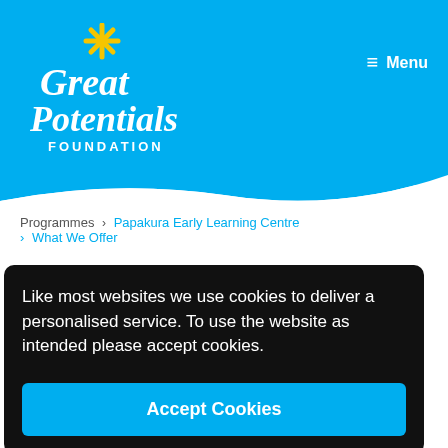[Figure (logo): Great Potentials Foundation logo with yellow star on blue background, white script text]
≡ Menu
Programmes > Papakura Early Learning Centre > What We Offer
Like most websites we use cookies to deliver a personalised service. To use the website as intended please accept cookies.
Accept Cookies